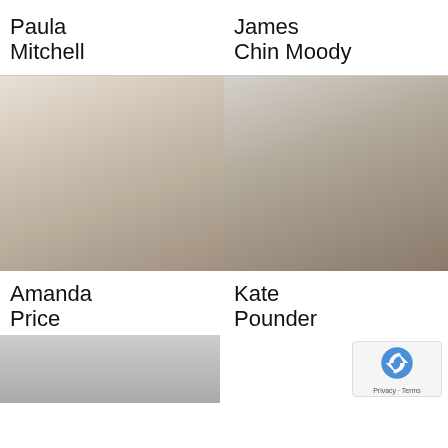Paula Mitchell
James Chin Moody
[Figure (photo): Portrait photo of Amanda Price, blonde woman in white shirt smiling, seated against a light background with plant]
[Figure (photo): Portrait photo of Kate Pounder, brown-haired woman in dark blazer smiling against light background]
Amanda Price
Kate Pounder
[Figure (photo): Partial portrait photo of a person, cropped at bottom of page]
[Figure (logo): Google reCAPTCHA badge with Privacy and Terms text]